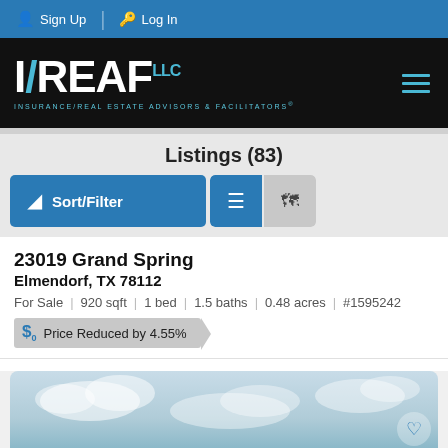Sign Up | Log In
[Figure (logo): I/REAF LLC logo — Insurance/Real Estate Advisors & Facilitators on black background]
Listings (83)
Sort/Filter
23019 Grand Spring
Elmendorf, TX 78112
For Sale | 920 sqft | 1 bed | 1.5 baths | 0.48 acres | #1595242
Price Reduced by 4.55%
[Figure (photo): Partial photo preview of a property — cloudy sky, blue tones, with a heart/favorite button overlay]